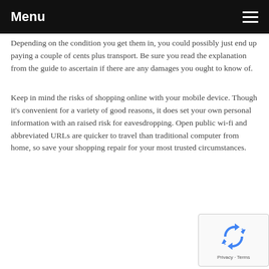Menu
Depending on the condition you get them in, you could possibly just end up paying a couple of cents plus transport. Be sure you read the explanation from the guide to ascertain if there are any damages you ought to know of.
Keep in mind the risks of shopping online with your mobile device. Though it's convenient for a variety of good reasons, it does set your own personal information with an raised risk for eavesdropping. Open public wi-fi and abbreviated URLs are quicker to travel than traditional computer from home, so save your shopping repair for your most trusted circumstances.
[Figure (other): reCAPTCHA widget with recycling arrows icon and Privacy - Terms footer text]